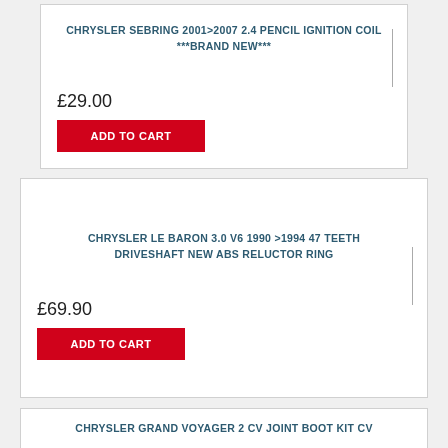CHRYSLER SEBRING 2001>2007 2.4 PENCIL IGNITION COIL ***BRAND NEW***
£29.00
ADD TO CART
CHRYSLER LE BARON 3.0 V6 1990 >1994 47 TEETH DRIVESHAFT NEW ABS RELUCTOR RING
£69.90
ADD TO CART
CHRYSLER GRAND VOYAGER 2 CV JOINT BOOT KIT CV